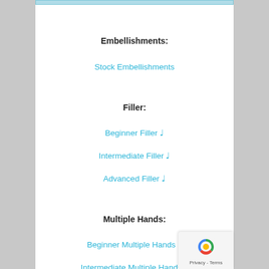Embellishments:
Stock Embellishments ♩
Filler:
Beginner Filler ♩
Intermediate Filler ♩
Advanced Filler ♩
Multiple Hands:
Beginner Multiple Hands ♩
Intermediate Multiple Hands ♩